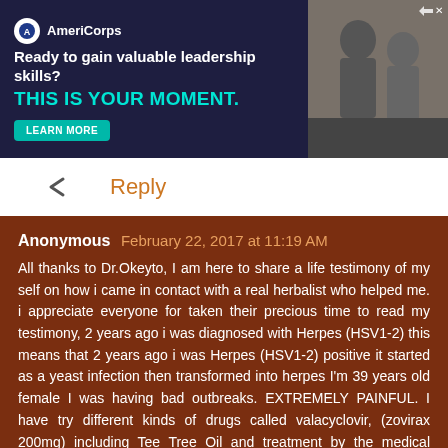[Figure (other): AmeriCorps advertisement banner with logo, tagline 'Ready to gain valuable leadership skills? THIS IS YOUR MOMENT.' with Learn More button and photo of people on right side]
Reply
Anonymous February 22, 2017 at 11:19 AM

All thanks to Dr.Okeyto, I am here to share a life testimony of my self on how i came in contact with a real herbalist who helped me. i appreciate everyone for taken their precious time to read my testimony, 2 years ago i was diagnosed with Herpes (HSV1-2) this means that 2 years ago i was Herpes (HSV1-2) positive it started as a yeast infection then transformed into herpes I'm 39 years old female I was having bad outbreaks. EXTREMELY PAINFUL. I have try different kinds of drugs called valacyclovir, (zovirax 200mg) including Tee Tree Oil and treatment by the medical doctors but was not able to cured it completely, i treated and it re~appeared Six months ago I was desperately online searching for a helpful remedies for genital herpes (HSV1-2) cure, which i came across some